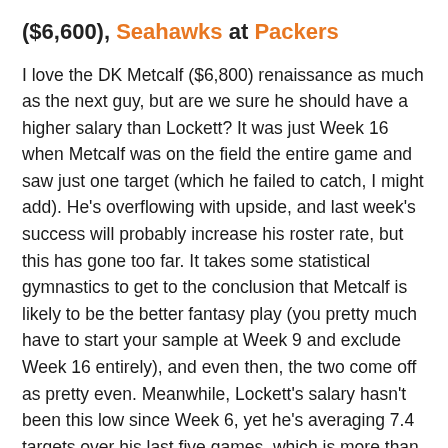($6,600), Seahawks at Packers
I love the DK Metcalf ($6,800) renaissance as much as the next guy, but are we sure he should have a higher salary than Lockett? It was just Week 16 when Metcalf was on the field the entire game and saw just one target (which he failed to catch, I might add). He's overflowing with upside, and last week's success will probably increase his roster rate, but this has gone too far. It takes some statistical gymnastics to get to the conclusion that Metcalf is likely to be the better fantasy play (you pretty much have to start your sample at Week 9 and exclude Week 16 entirely), and even then, the two come off as pretty even. Meanwhile, Lockett's salary hasn't been this low since Week 6, yet he's averaging 7.4 targets over his last five games, which is more than he averaged over